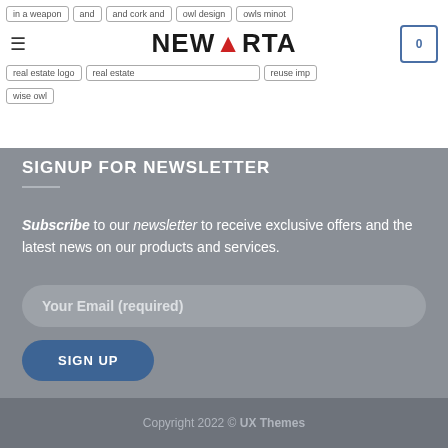NEWARTA website header with navigation tags and logo
wise owl
SIGNUP FOR NEWSLETTER
Subscribe to our newsletter to receive exclusive offers and the latest news on our products and services.
Your Email (required)
SIGN UP
Copyright 2022 © UX Themes